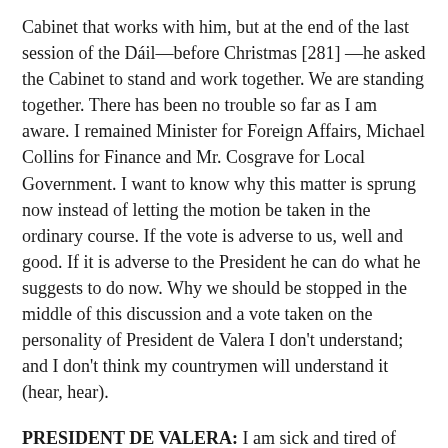Cabinet that works with him, but at the end of the last session of the Dáil—before Christmas [281] —he asked the Cabinet to stand and work together. We are standing together. There has been no trouble so far as I am aware. I remained Minister for Foreign Affairs, Michael Collins for Finance and Mr. Cosgrave for Local Government. I want to know why this matter is sprung now instead of letting the motion be taken in the ordinary course. If the vote is adverse to us, well and good. If it is adverse to the President he can do what he suggests to do now. Why we should be stopped in the middle of this discussion and a vote taken on the personality of President de Valera I don't understand; and I don't think my countrymen will understand it (hear, hear).
PRESIDENT DE VALERA: I am sick and tired of politics—so sick that no matter what happens I would go back to private life. I have only seen politics within the last three weeks or a month. It is the first time I have seen them and I am sick to the heart of them. Now I am told this is a